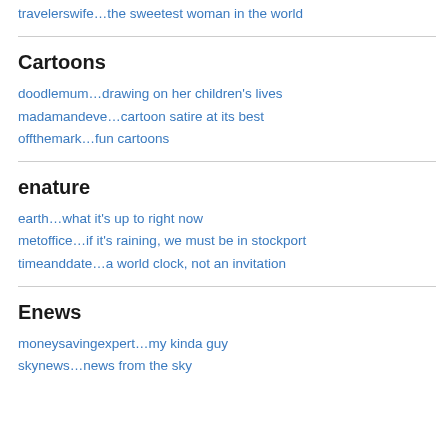travelerswife…the sweetest woman in the world
Cartoons
doodlemum…drawing on her children's lives
madamandeve…cartoon satire at its best
offthemark…fun cartoons
enature
earth…what it's up to right now
metoffice…if it's raining, we must be in stockport
timeanddate…a world clock, not an invitation
Enews
moneysavingexpert…my kinda guy
skynews…news from the sky